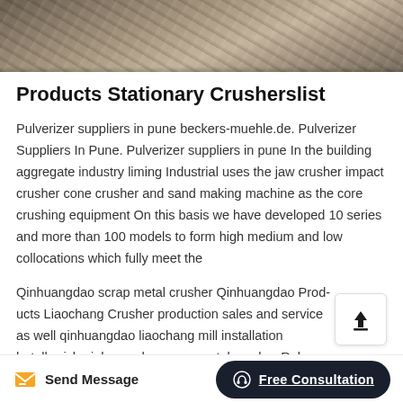[Figure (photo): Aerial or close-up photograph of sandy/rocky ground texture with light brown and grey tones]
Products Stationary Crusherslist
Pulverizer suppliers in pune beckers-muehle.de. Pulverizer Suppliers In Pune. Pulverizer suppliers in pune In the building aggregate industry liming Industrial uses the jaw crusher impact crusher cone crusher and sand making machine as the core crushing equipment On this basis we have developed 10 series and more than 100 models to form high medium and low collocations which fully meet the
Qinhuangdao scrap metal crusher Qinhuangdao Products Liaochang Crusher production sales and service as well qinhuangdao liaochang mill installation hotelharish qinhuangdao scrap metal crusher Ruby Grand recycling
Send Message   Free Consultation